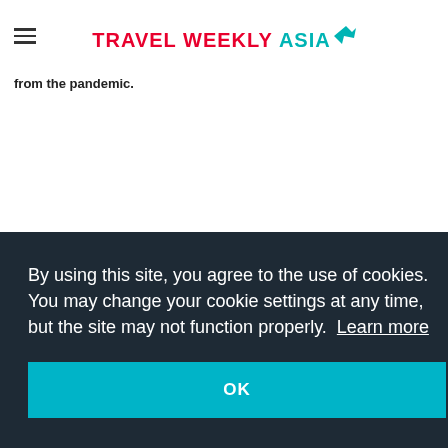TRAVEL WEEKLY ASIA
from the pandemic.
By using this site, you agree to the use of cookies. You may change your cookie settings at any time, but the site may not function properly.  Learn more
OK